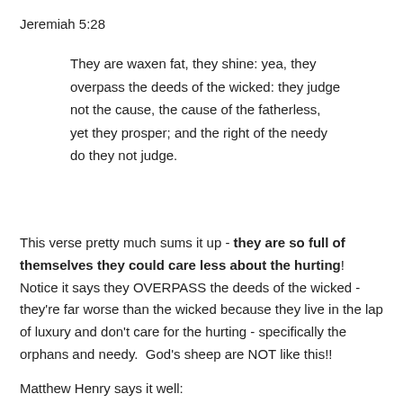Jeremiah 5:28
They are waxen fat, they shine: yea, they overpass the deeds of the wicked: they judge not the cause, the cause of the fatherless, yet they prosper; and the right of the needy do they not judge.
This verse pretty much sums it up - they are so full of themselves they could care less about the hurting! Notice it says they OVERPASS the deeds of the wicked - they're far worse than the wicked because they live in the lap of luxury and don't care for the hurting - specifically the orphans and needy. God's sheep are NOT like this!!
Matthew Henry says it well: